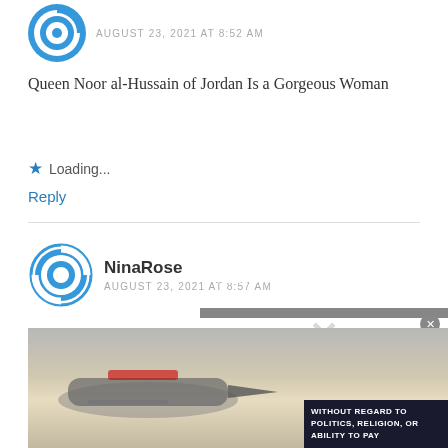[Figure (logo): Circular blue logo/avatar icon for first commenter]
AUGUST 23, 2021 AT 8:52 AM
Queen Noor al-Hussain of Jordan Is a Gorgeous Woman
Loading...
Reply
[Figure (logo): Circular blue logo/avatar icon for NinaRose]
NinaRose
AUGUST 23, 2021 AT 8:57 AM
Queen Noor's Diamond Tiara Is a Gorgeous Tiara
Loading...
[Figure (screenshot): Video overlay with message: No compatible source was found for this media. with X close button and dismiss mark]
[Figure (photo): Advertisement photo showing cargo airplane being loaded, with text WITHOUT REGARD TO POLITICS, RELIGION, OR ABILITY TO PAY]